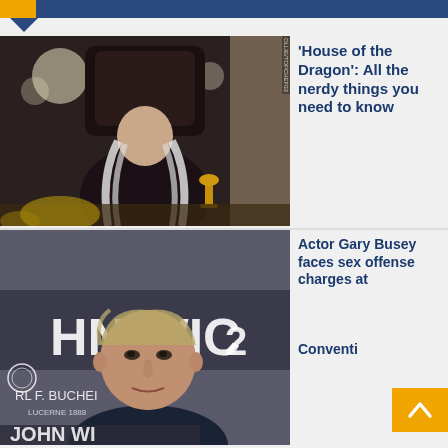[Figure (photo): Scene from 'House of the Dragon' showing a man with long white hair seated on a dark throne]
'House of the Dragon': All the nerdy things you need to know
[Figure (photo): Actor Gary Busey at a John Wick 2 premiere event, wearing a dark suit]
Actor Gary Busey faces sex offense charges at … Convention